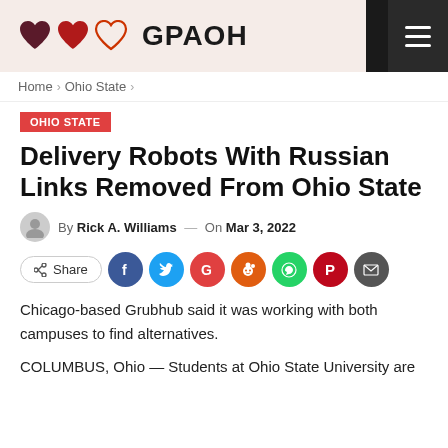[Figure (logo): GPAOH website header with three hearts logo and brand name GPAOH on light pink background, hamburger menu icon on dark background]
Home > Ohio State >
OHIO STATE
Delivery Robots With Russian Links Removed From Ohio State
By Rick A. Williams — On Mar 3, 2022
[Figure (infographic): Social share row with Share button and social media icons: Facebook, Twitter, Google, Reddit, WhatsApp, Pinterest, Email]
Chicago-based Grubhub said it was working with both campuses to find alternatives.
COLUMBUS, Ohio — Students at Ohio State University are